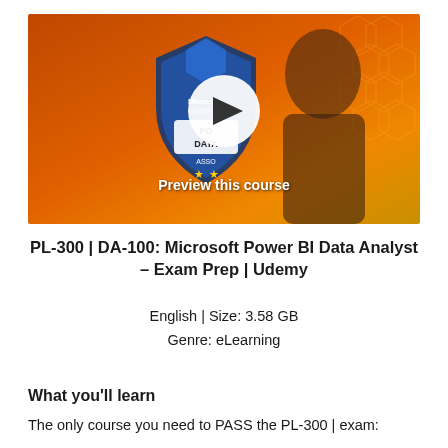[Figure (screenshot): Course thumbnail showing Microsoft Certified Power BI Data Analyst badge with a play button overlay and instructor photo on orange background. Text reads 'Preview this course'.]
PL-300 | DA-100: Microsoft Power BI Data Analyst – Exam Prep | Udemy
English | Size: 3.58 GB
Genre: eLearning
What you'll learn
The only course you need to PASS the PL-300 | exam: